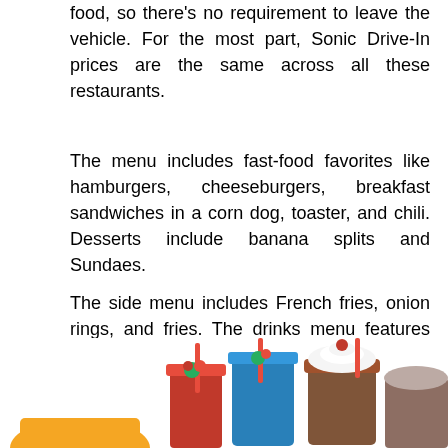food, so there's no requirement to leave the vehicle. For the most part, Sonic Drive-In prices are the same across all these restaurants.
The menu includes fast-food favorites like hamburgers, cheeseburgers, breakfast sandwiches in a corn dog, toaster, and chili. Desserts include banana splits and Sundaes.
The side menu includes French fries, onion rings, and fries. The drinks menu features slush milkshakes, as well as soft drinks.
[Figure (photo): Photo of Sonic Drive-In drinks and milkshakes including colorful slush drinks and a chocolate milkshake with whipped cream and cherry on top, partially visible at the bottom of the page.]